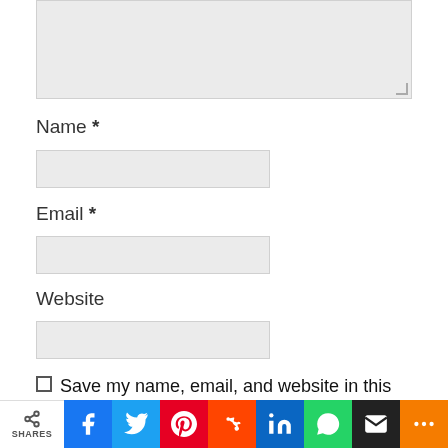[Figure (screenshot): Textarea input field (comment box), partially visible at top of page, light gray background with resize handle]
Name *
[Figure (screenshot): Name input field, light gray background]
Email *
[Figure (screenshot): Email input field, light gray background]
Website
[Figure (screenshot): Website input field, light gray background]
Save my name, email, and website in this browser for the next time I comment.
[Figure (infographic): Social share bar with icons: share count, Facebook, Twitter, Pinterest, Reddit, LinkedIn, WhatsApp, Email, More]